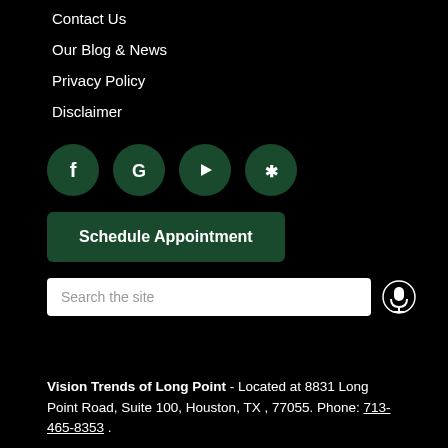Contact Us
Our Blog & News
Privacy Policy
Disclaimer
[Figure (other): Four social media icon circles (Facebook, Google, YouTube, Yelp) in dark green]
[Figure (other): Schedule Appointment button in dark green]
[Figure (other): Search the site input field with microphone icon]
Vision Trends of Long Point - Located at 8831 Long Point Road, Suite 100, Houston, TX , 77055. Phone: 713-465-8353 .